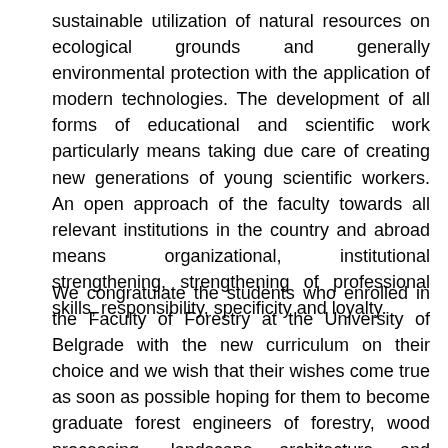sustainable utilization of natural resources on ecological grounds and generally environmental protection with the application of modern technologies. The development of all forms of educational and scientific work particularly means taking due care of creating new generations of young scientific workers. An open approach of the faculty towards all relevant institutions in the country and abroad means organizational, institutional strengthening, strengthening of professional skills, responsibility, specificity and loyalty.
We congratulate the students who enrolled in the Faculty of Forestry at the University of Belgrade with the new curriculum on their choice and we wish that their wishes come true as soon as possible hoping for them to become graduate forest engineers of forestry, wood processing, landscape architecture and horticulture or ecological engineering for soil